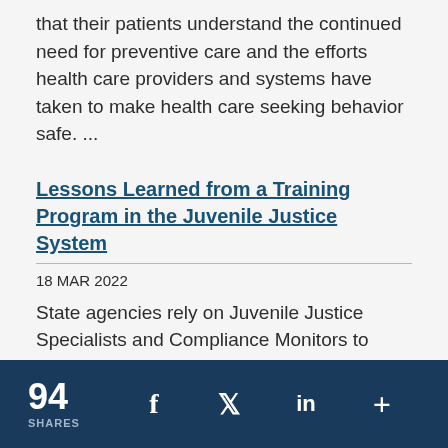that their patients understand the continued need for preventive care and the efforts health care providers and systems have taken to make health care seeking behavior safe. ...
Lessons Learned from a Training Program in the Juvenile Justice System
18 MAR 2022
State agencies rely on Juvenile Justice Specialists and Compliance Monitors to make sure award recipients spend funds properly and facilities meet certain requirements of the Juvenile Justice and Delinquency Prevention Act, respectively.
94 SHARES | f | y | in | +